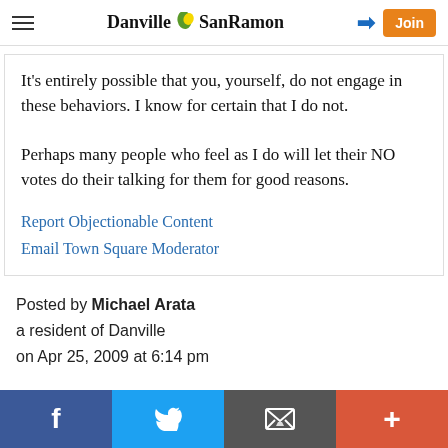Danville SanRamon — navigation bar with hamburger menu, logo, login arrow, and Join button
It's entirely possible that you, yourself, do not engage in these behaviors. I know for certain that I do not.

Perhaps many people who feel as I do will let their NO votes do their talking for them for good reasons.
Report Objectionable Content
Email Town Square Moderator
Posted by Michael Arata
a resident of Danville
on Apr 25, 2009 at 6:14 pm
Social share bar: Facebook, Twitter, Email, Plus